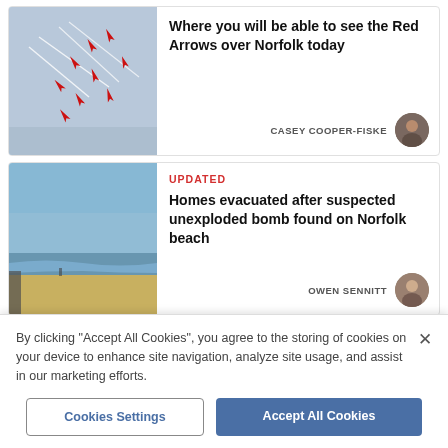[Figure (screenshot): News article card 1: Red Arrows jets flying over Norfolk. Headline: Where you will be able to see the Red Arrows over Norfolk today. Author: CASEY COOPER-FISKE.]
Where you will be able to see the Red Arrows over Norfolk today
CASEY COOPER-FISKE
[Figure (screenshot): News article card 2: Beach photo. UPDATED label in red. Headline: Homes evacuated after suspected unexploded bomb found on Norfolk beach. Author: OWEN SENNITT.]
UPDATED
Homes evacuated after suspected unexploded bomb found on Norfolk beach
OWEN SENNITT
By clicking "Accept All Cookies", you agree to the storing of cookies on your device to enhance site navigation, analyze site usage, and assist in our marketing efforts.
Cookies Settings
Accept All Cookies